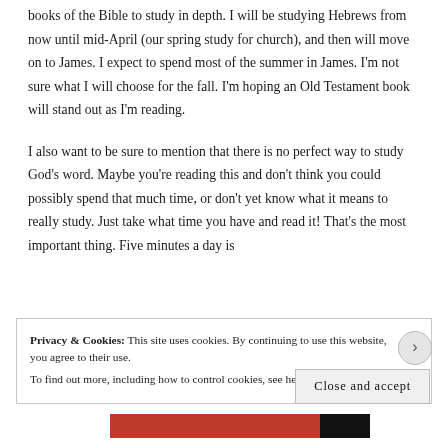books of the Bible to study in depth. I will be studying Hebrews from now until mid-April (our spring study for church), and then will move on to James. I expect to spend most of the summer in James. I'm not sure what I will choose for the fall. I'm hoping an Old Testament book will stand out as I'm reading.
I also want to be sure to mention that there is no perfect way to study God's word. Maybe you're reading this and don't think you could possibly spend that much time, or don't yet know what it means to really study. Just take what time you have and read it! That's the most important thing. Five minutes a day is
Privacy & Cookies: This site uses cookies. By continuing to use this website, you agree to their use.
To find out more, including how to control cookies, see here: Cookie Policy
Close and accept